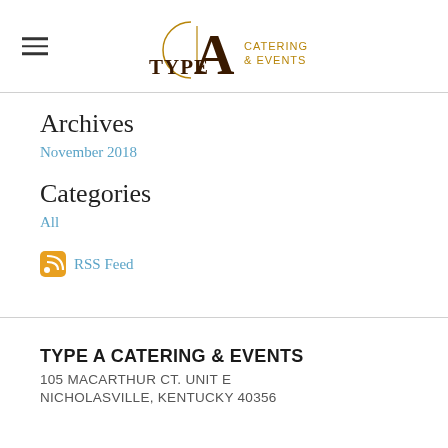TYPE A CATERING & EVENTS (logo header)
Archives
November 2018
Categories
All
RSS Feed
TYPE A CATERING & EVENTS
105 MACARTHUR CT. UNIT E
NICHOLASVILLE, KENTUCKY 40356